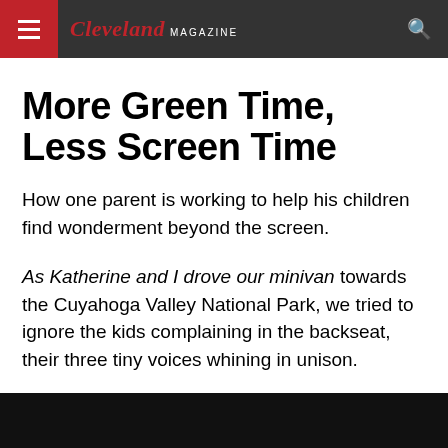Cleveland MAGAZINE
More Green Time, Less Screen Time
How one parent is working to help his children find wonderment beyond the screen.
As Katherine and I drove our minivan towards the Cuyahoga Valley National Park, we tried to ignore the kids complaining in the backseat, their three tiny voices whining in unison.